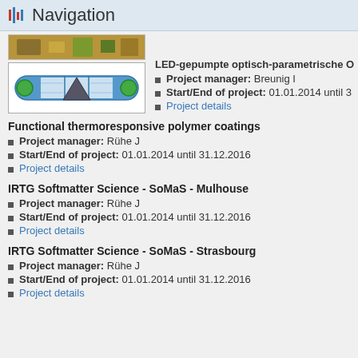Navigation
[Figure (engineering-diagram): Truncated top image showing electronic components (partial, cropped)]
[Figure (engineering-diagram): Diagram of an optical parametric oscillator cavity with blue body, green end caps, and a dark triangular prism element in the center]
LED-gepumpte optisch-parametrische O
Project manager: Breunig I
Start/End of project: 01.01.2014 until 3
Project details
Functional thermoresponsive polymer coatings
Project manager: Rühe J
Start/End of project: 01.01.2014 until 31.12.2016
Project details
IRTG Softmatter Science - SoMaS - Mulhouse
Project manager: Rühe J
Start/End of project: 01.01.2014 until 31.12.2016
Project details
IRTG Softmatter Science - SoMaS - Strasbourg
Project manager: Rühe J
Start/End of project: 01.01.2014 until 31.12.2016
Project details